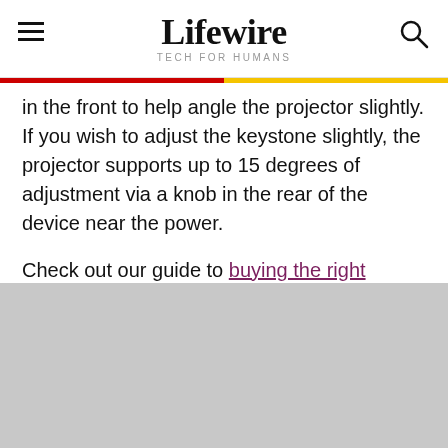Lifewire TECH FOR HUMANS
in the front to help angle the projector slightly. If you wish to adjust the keystone slightly, the projector supports up to 15 degrees of adjustment via a knob in the rear of the device near the power.
Check out our guide to buying the right projector.
[Figure (photo): Gray placeholder image at the bottom of the page]